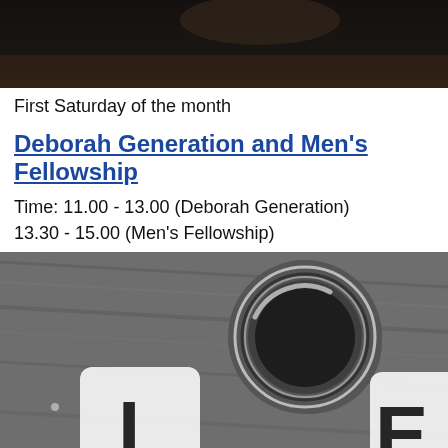[Figure (photo): Top portion of a black and white photo, cropped to show a dark background with partial view of an object.]
First Saturday of the month
Deborah Generation and Men's Fellowship
Time: 11.00 - 13.00 (Deborah Generation)
13.30 - 15.00 (Men's Fellowship)
[Figure (photo): Black and white photo showing a metallic ring on a wooden surface with white letter tiles (L and E visible) in the foreground, suggesting a word game or Scrabble-like setting.]